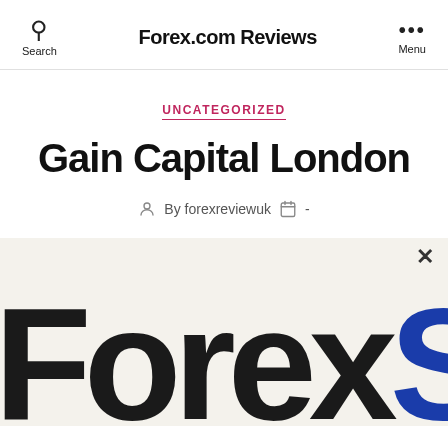Forex.com Reviews
UNCATEGORIZED
Gain Capital London
By forexreviewuk -
[Figure (logo): Forex.com logo showing 'ForexS' in large bold dark text with the S in blue, partially cropped, on a light beige background with a close/X button in the top right corner]